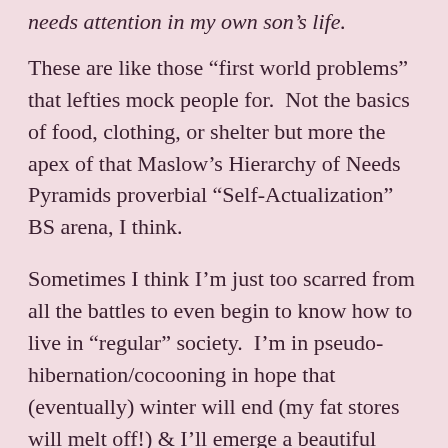needs attention in my own son's life.
These are like those “first world problems” that lefties mock people for.  Not the basics of food, clothing, or shelter but more the apex of that Maslow’s Hierarchy of Needs Pyramids proverbial “Self-Actualization” BS arena, I think.
Sometimes I think I’m just too scarred from all the battles to even begin to know how to live in “regular” society.  I’m in pseudo-hibernation/cocooning in hope that (eventually) winter will end (my fat stores will melt off!) & I’ll emerge a beautiful butterfly with sufficient energy to pump those superfluous abdominal fluids into those nascent but hopefully beautifully majestic wings & somehow manage to soar above before my brief sojourn planet-side is